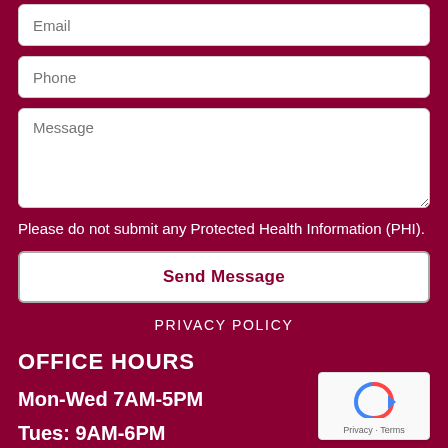Email
Phone
Message
Please do not submit any Protected Health Information (PHI).
Send Message
PRIVACY POLICY
OFFICE HOURS
Mon-Wed 7AM-5PM
Tues: 9AM-6PM
[Figure (other): reCAPTCHA badge with circular arrow icon and Privacy - Terms text]